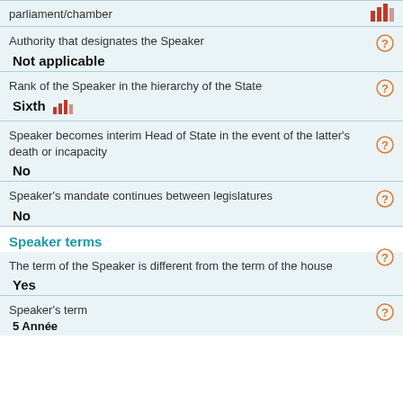parliament/chamber
Authority that designates the Speaker
Not applicable
Rank of the Speaker in the hierarchy of the State
Sixth
Speaker becomes interim Head of State in the event of the latter's death or incapacity
No
Speaker's mandate continues between legislatures
No
Speaker terms
The term of the Speaker is different from the term of the house
Yes
Speaker's term
5 Année